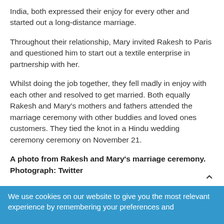India, both expressed their enjoy for every other and started out a long-distance marriage.
Throughout their relationship, Mary invited Rakesh to Paris and questioned him to start out a textile enterprise in partnership with her.
Whilst doing the job together, they fell madly in enjoy with each other and resolved to get married. Both equally Rakesh and Mary’s mothers and fathers attended the marriage ceremony with other buddies and loved ones customers. They tied the knot in a Hindu wedding ceremony ceremony on November 21.
A photo from Rakesh and Mary’s marriage ceremony. Photograph: Twitter
We use cookies on our website to give you the most relevant experience by remembering your preferences and